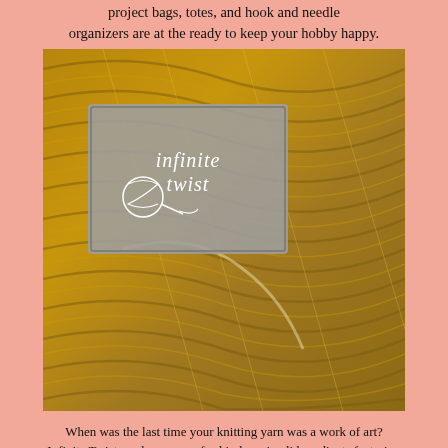project bags, totes, and hook and needle organizers are at the ready to keep your hobby happy.
[Figure (photo): Infinite Twist logo overlaid on a skein of golden/brown yarn. The logo shows a grey square with 'infinite twist' text and a yarn ball icon.]
When was the last time your knitting yarn was a work of art? Infinite Twist produces one-of-a-kind semi-solid gradients featuring speckles, high-lights, low-lights, and gorgeous color transitions. From 700 y Giant Gradients to 200 y matching sock sets, Infinite Twist Gradients will hold your interest from cast on to bind off. See the currently available gradients at infinitetwist.com, or be the first to know when new colors are posted by signing up for our newsletter at infinitetwist.com/newsletter-signup
[Figure (screenshot): KnitCompanion app screenshot showing a knitting needle gauge chart with dots and circle/cross symbols, with blue circular markers showing size 4, and the knitCompanion logo/text below.]